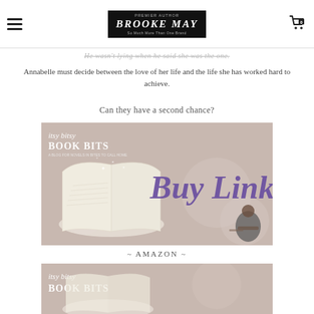Brooke May — So Much More Than One Brand
He wasn't lying when he said she was the one.
Annabelle must decide between the love of her life and the life she has worked hard to achieve.
Can they have a second chance?
[Figure (illustration): Itsy Bitsy Book Bits banner with 'Buy Links' text in cursive purple font, open book with sparkles on left, woman reading on right, beige/grey background]
~ AMAZON ~
[Figure (illustration): Partial Itsy Bitsy Book Bits banner, bottom of page]